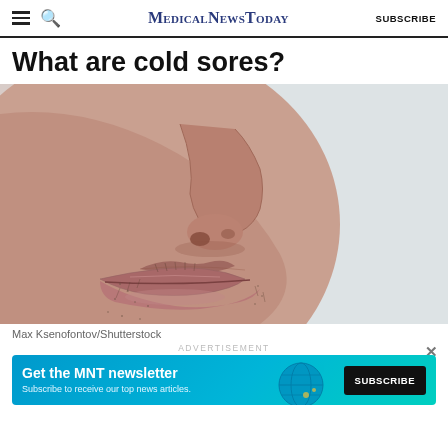MedicalNewsToday | SUBSCRIBE
What are cold sores?
[Figure (photo): Close-up photo of a person's nose and lips, showing slightly swollen lips possibly affected by a cold sore. The background is light gray/white. The person has some facial hair stubble around the mouth area.]
Max Ksenofontov/Shutterstock
ADVERTISEMENT
[Figure (infographic): Advertisement banner for MNT newsletter in blue/teal gradient background. Text reads 'Get the MNT newsletter' with subtext 'Subscribe to receive our top news articles.' and a black SUBSCRIBE button on the right.]